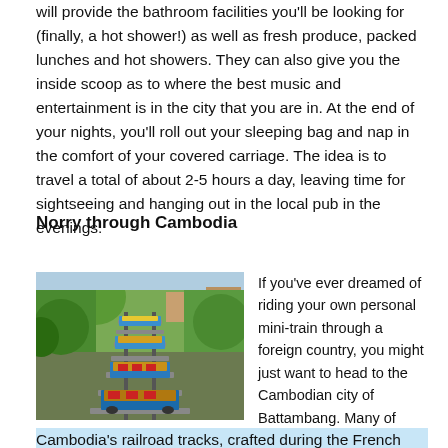will provide the bathroom facilities you'll be looking for (finally, a hot shower!) as well as fresh produce, packed lunches and hot showers. They can also give you the inside scoop as to where the best music and entertainment is in the city that you are in. At the end of your nights, you'll roll out your sleeping bag and nap in the comfort of your covered carriage. The idea is to travel a total of about 2-5 hours a day, leaving time for sightseeing and hanging out in the local pub in the evenings.
Norry through Cambodia
[Figure (photo): Aerial/overhead view of bamboo train (norry) cars on a railway track in Cambodia, surrounded by trees and market stalls. The flat bamboo platforms are laid on rail bogies, painted in blue and red.]
If you've ever dreamed of riding your own personal mini-train through a foreign country, you might just want to head to the Cambodian city of Battambang. Many of
Cambodia's railroad tracks, crafted during the French Colonial